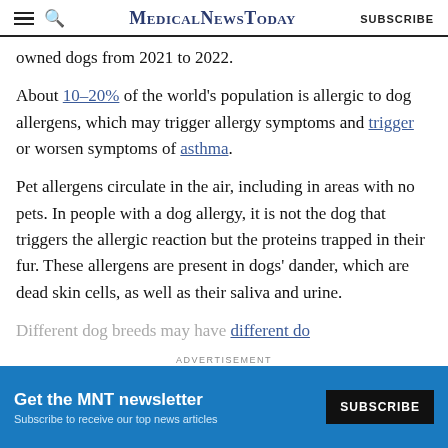MedicalNewsToday | SUBSCRIBE
owned dogs from 2021 to 2022.
About 10–20% of the world's population is allergic to dog allergens, which may trigger allergy symptoms and trigger or worsen symptoms of asthma.
Pet allergens circulate in the air, including in areas with no pets. In people with a dog allergy, it is not the dog that triggers the allergic reaction but the proteins trapped in their fur. These allergens are present in dogs' dander, which are dead skin cells, as well as their saliva and urine.
Different dog breeds may have different do...
[Figure (screenshot): Advertisement banner for MNT newsletter with blue background, title 'Get the MNT newsletter', subtitle 'Subscribe to receive our top news articles', and a black SUBSCRIBE button.]